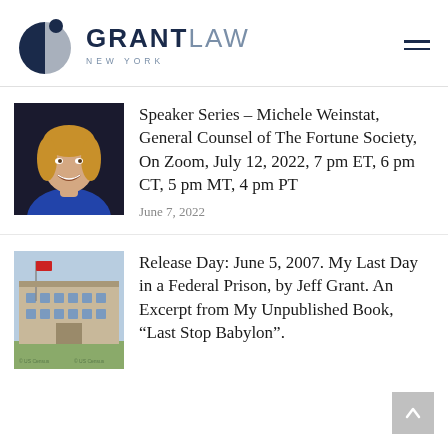GRANT LAW NEW YORK
[Figure (photo): Headshot of a smiling woman with blonde hair wearing a blue top]
Speaker Series – Michele Weinstat, General Counsel of The Fortune Society, On Zoom, July 12, 2022, 7 pm ET, 6 pm CT, 5 pm MT, 4 pm PT
June 7, 2022
[Figure (photo): Exterior photo of a federal prison building with a flagpole]
Release Day: June 5, 2007. My Last Day in a Federal Prison, by Jeff Grant. An Excerpt from My Unpublished Book, “Last Stop Babylon”.